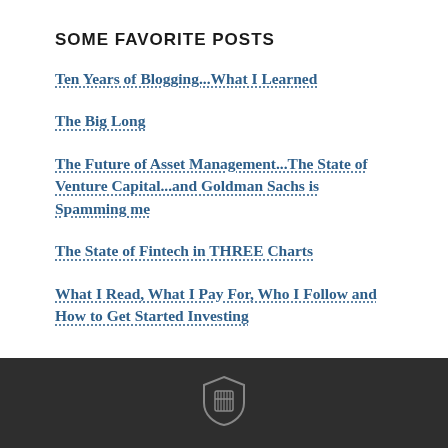SOME FAVORITE POSTS
Ten Years of Blogging...What I Learned
The Big Long
The Future of Asset Management...The State of Venture Capital...and Goldman Sachs is Spamming me
The State of Fintech in THREE Charts
What I Read, What I Pay For, Who I Follow and How to Get Started Investing
[Figure (logo): Grey shield/helmet logo icon in dark footer bar]